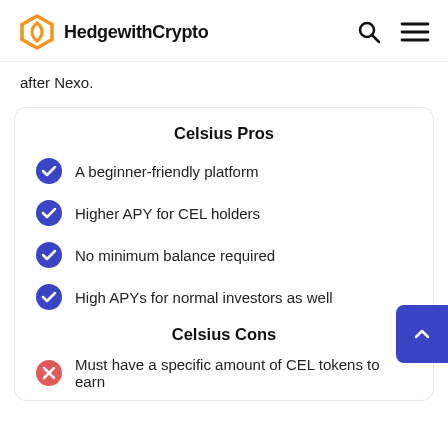HedgewithCrypto
after Nexo.
Celsius Pros
A beginner-friendly platform
Higher APY for CEL holders
No minimum balance required
High APYs for normal investors as well
Celsius Cons
Must have a specific amount of CEL tokens to earn